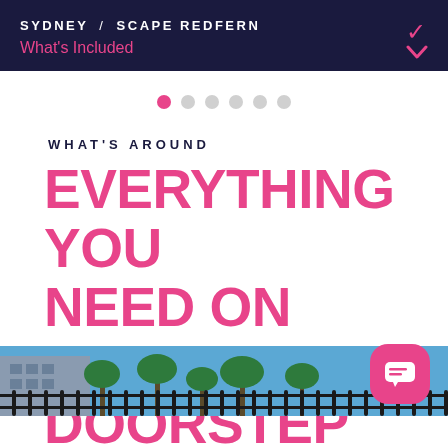SYDNEY / SCAPE REDFERN
What's Included
[Figure (other): Carousel pagination dots: 1 pink active dot followed by 5 grey inactive dots]
WHAT'S AROUND
EVERYTHING YOU NEED ON YOUR DOORSTEP
[Figure (photo): Partial photo at bottom of page showing a black iron fence/railing with palm trees and a building in the background under a blue sky]
[Figure (other): Pink rounded square chat button icon in bottom right corner]